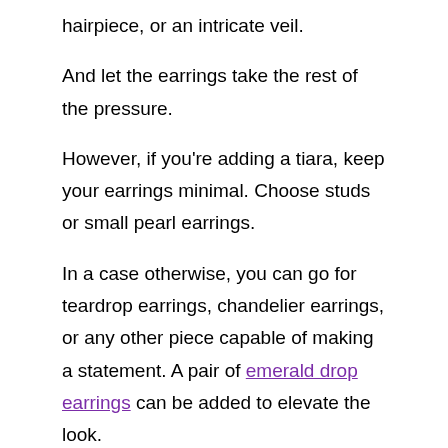hairpiece, or an intricate veil.
And let the earrings take the rest of the pressure.
However, if you're adding a tiara, keep your earrings minimal. Choose studs or small pearl earrings.
In a case otherwise, you can go for teardrop earrings, chandelier earrings, or any other piece capable of making a statement. A pair of emerald drop earrings can be added to elevate the look.
Add a dainty bangle or a bracelet to your wrists and leave the rest of the space for your wedding ring.